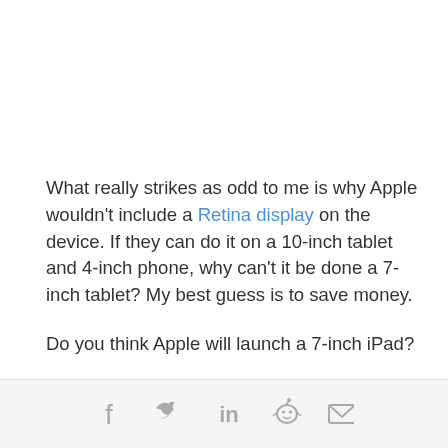What really strikes as odd to me is why Apple wouldn't include a Retina display on the device. If they can do it on a 10-inch tablet and 4-inch phone, why can't it be done a 7-inch tablet? My best guess is to save money.
Do you think Apple will launch a 7-inch iPad?
[Figure (infographic): Social sharing icons: Facebook, Twitter, LinkedIn, Reddit, Email]